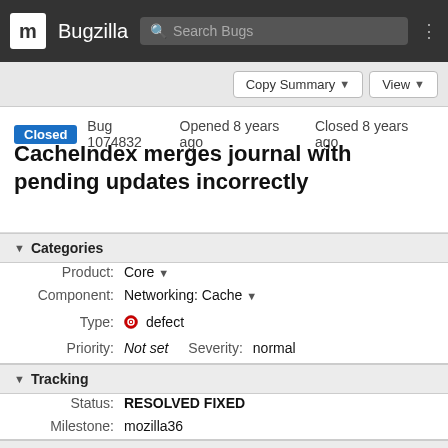Bugzilla — Search Bugs
Closed  Bug 1074832  Opened 8 years ago  Closed 8 years ago
CacheIndex merges journal with pending updates incorrectly
▼ Categories
Product: Core ▼
Component: Networking: Cache ▼
Type: ⊙ defect
Priority: Not set   Severity: normal
▼ Tracking
Status: RESOLVED FIXED
Milestone: mozilla36
▶ People (Reporter: michal, Assigned: michal)